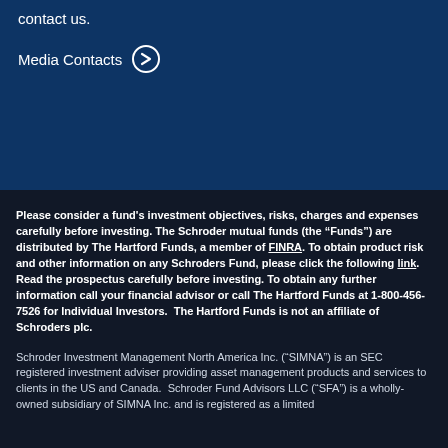contact us.
Media Contacts
Please consider a fund's investment objectives, risks, charges and expenses carefully before investing. The Schroder mutual funds (the “Funds”) are distributed by The Hartford Funds, a member of FINRA. To obtain product risk and other information on any Schroders Fund, please click the following link. Read the prospectus carefully before investing. To obtain any further information call your financial advisor or call The Hartford Funds at 1-800-456-7526 for Individual Investors. The Hartford Funds is not an affiliate of Schroders plc.
Schroder Investment Management North America Inc. (“SIMNA”) is an SEC registered investment adviser providing asset management products and services to clients in the US and Canada. Schroder Fund Advisors LLC (“SFA”) is a wholly-owned subsidiary of SIMNA Inc. and is registered as a limited